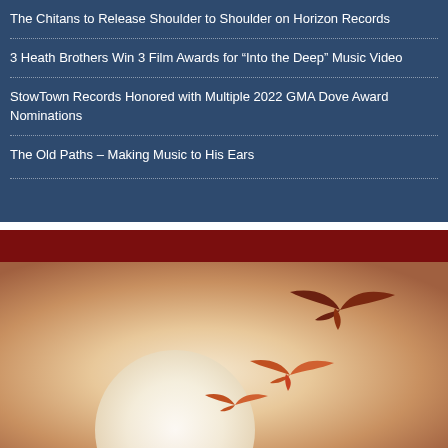The Chitans to Release Shoulder to Shoulder on Horizon Records
3 Heath Brothers Win 3 Film Awards for “Into the Deep” Music Video
StowTown Records Honored with Multiple 2022 GMA Dove Award Nominations
The Old Paths – Making Music to His Ears
[Figure (illustration): Sunset scene with silhouettes of birds in flight against a warm orange and cream sky, with a large white sun/moon disc and a dark red banner at the top]